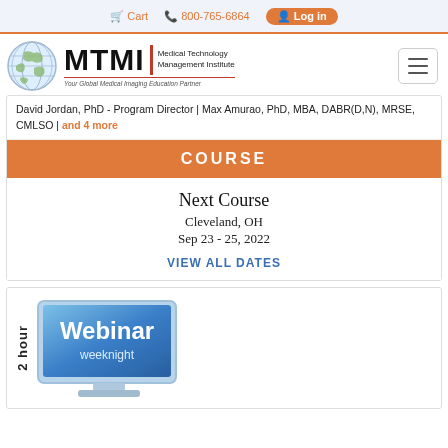Cart | 800-765-6864 | Log in
[Figure (logo): MTMI Medical Technology Management Institute logo with globe graphic]
David Jordan, PhD - Program Director | Max Amurao, PhD, MBA, DABR(D,N), MRSE, CMLSO | and 4 more
COURSE
Next Course
Cleveland, OH
Sep 23 - 25, 2022
VIEW ALL DATES
[Figure (illustration): 2 hour Webinar weeknight monitor graphic with blue screen showing Webinar weeknight text]